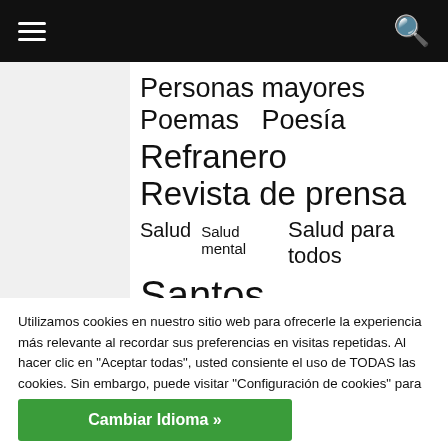Navigation bar with hamburger menu and search icon
Personas mayores
Poemas  Poesía
Refranero
Revista de prensa
Salud  Salud mental  Salud para todos
Santos
Utilizamos cookies en nuestro sitio web para ofrecerle la experiencia más relevante al recordar sus preferencias en visitas repetidas. Al hacer clic en "Aceptar todas", usted consiente el uso de TODAS las cookies. Sin embargo, puede visitar "Configuración de cookies" para dar un consentimiento más controlado.
Configuración de cookies
Aceptar todas
Cambiar Idioma »